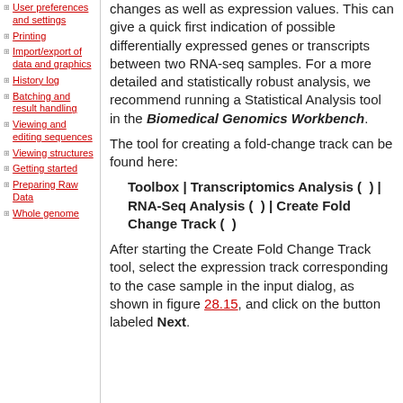User preferences and settings
Printing
Import/export of data and graphics
History log
Batching and result handling
Viewing and editing sequences
Viewing structures
Getting started
Preparing Raw Data
Whole genome
changes as well as expression values. This can give a quick first indication of possible differentially expressed genes or transcripts between two RNA-seq samples. For a more detailed and statistically robust analysis, we recommend running a Statistical Analysis tool in the Biomedical Genomics Workbench.
The tool for creating a fold-change track can be found here:
Toolbox | Transcriptomics Analysis ( ) | RNA-Seq Analysis ( ) | Create Fold Change Track ( )
After starting the Create Fold Change Track tool, select the expression track corresponding to the case sample in the input dialog, as shown in figure 28.15, and click on the button labeled Next.